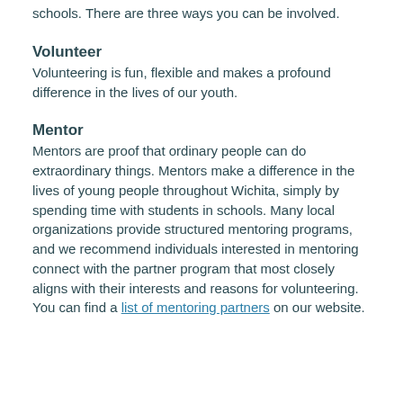schools. There are three ways you can be involved.
Volunteer
Volunteering is fun, flexible and makes a profound difference in the lives of our youth.
Mentor
Mentors are proof that ordinary people can do extraordinary things. Mentors make a difference in the lives of young people throughout Wichita, simply by spending time with students in schools. Many local organizations provide structured mentoring programs, and we recommend individuals interested in mentoring connect with the partner program that most closely aligns with their interests and reasons for volunteering. You can find a list of mentoring partners on our website.